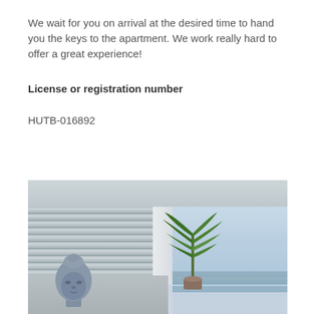We wait for you on arrival at the desired time to hand you the keys to the apartment. We work really hard to offer a great experience!
License or registration number
HUTB-016892
[Figure (photo): Interior photo of a modern apartment showing horizontal window blinds on the left, a large opening/window to a balcony with a sea view, a Buddha head statue in the foreground on the left, and a tall palm-like plant on the right, with the ocean and blue sky visible in the background.]